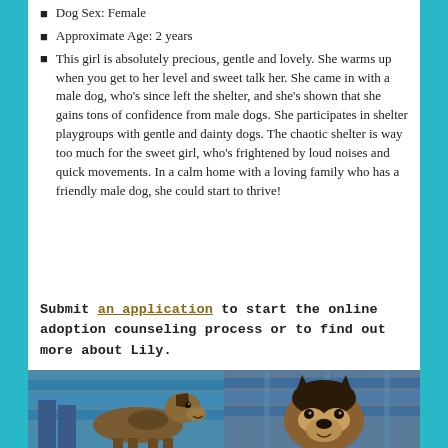Dog Sex: Female
Approximate Age: 2 years
This girl is absolutely precious, gentle and lovely. She warms up when you get to her level and sweet talk her. She came in with a male dog, who's since left the shelter, and she's shown that she gains tons of confidence from male dogs. She participates in shelter playgroups with gentle and dainty dogs. The chaotic shelter is way too much for the sweet girl, who's frightened by loud noises and quick movements. In a calm home with a loving family who has a friendly male dog, she could start to thrive!
Submit an application to start the online adoption counseling process or to find out more about Lily.
[Figure (photo): Two side-by-side photos of a German Shepherd dog named Lily at a shelter with blue wooden fence background]